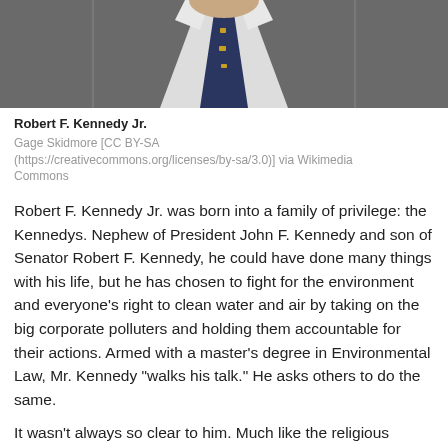[Figure (photo): Close-up photo of Robert F. Kennedy Jr. in a suit and tie, cropped at the chest/neck area]
Robert F. Kennedy Jr.
Gage Skidmore [CC BY-SA (https://creativecommons.org/licenses/by-sa/3.0)] via Wikimedia Commons
Robert F. Kennedy Jr. was born into a family of privilege: the Kennedys. Nephew of President John F. Kennedy and son of Senator Robert F. Kennedy, he could have done many things with his life, but he has chosen to fight for the environment and everyone's right to clean water and air by taking on the big corporate polluters and holding them accountable for their actions. Armed with a master's degree in Environmental Law, Mr. Kennedy "walks his talk." He asks others to do the same.
It wasn't always so clear to him. Much like the religious epiphany St. Francis experienced after serving time in